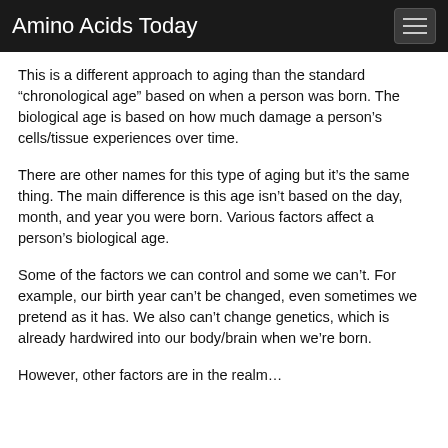Amino Acids Today
This is a different approach to aging than the standard “chronological age” based on when a person was born. The biological age is based on how much damage a person’s cells/tissue experiences over time.
There are other names for this type of aging but it’s the same thing. The main difference is this age isn’t based on the day, month, and year you were born. Various factors affect a person’s biological age.
Some of the factors we can control and some we can’t. For example, our birth year can’t be changed, even sometimes we pretend as it has. We also can’t change genetics, which is already hardwired into our body/brain when we’re born.
However, other factors are in the realm…